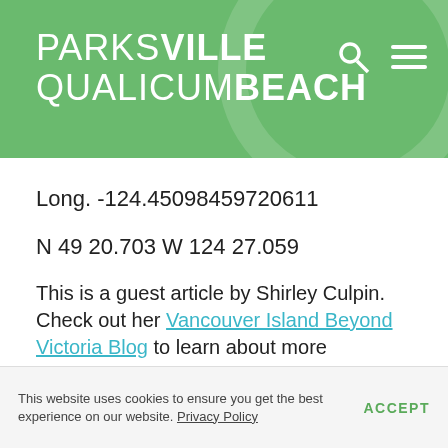PARKSVILLE QUALICUM BEACH
Long. -124.45098459720611
N 49 20.703 W 124 27.059
This is a guest article by Shirley Culpin. Check out her Vancouver Island Beyond Victoria Blog to learn about more unheralded nooks and crannies on Vancouver Island.
This website uses cookies to ensure you get the best experience on our website. Privacy Policy   ACCEPT